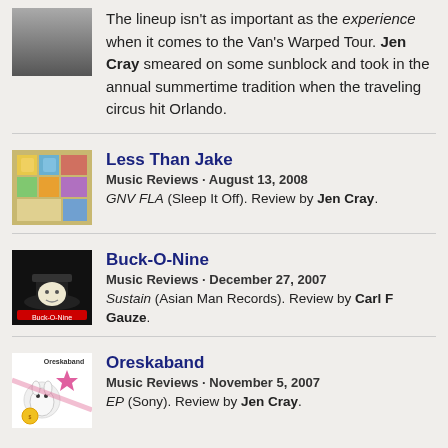The lineup isn't as important as the experience when it comes to the Van's Warped Tour. Jen Cray smeared on some sunblock and took in the annual summertime tradition when the traveling circus hit Orlando.
Less Than Jake
Music Reviews · August 13, 2008
GNV FLA (Sleep It Off). Review by Jen Cray.
Buck-O-Nine
Music Reviews · December 27, 2007
Sustain (Asian Man Records). Review by Carl F Gauze.
Oreskaband
Music Reviews · November 5, 2007
EP (Sony). Review by Jen Cray.